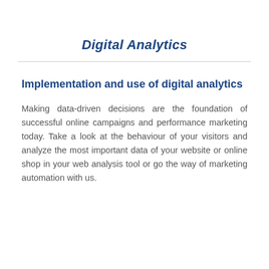Digital Analytics
Implementation and use of digital analytics
Making data-driven decisions are the foundation of successful online campaigns and performance marketing today. Take a look at the behaviour of your visitors and analyze the most important data of your website or online shop in your web analysis tool or go the way of marketing automation with us.